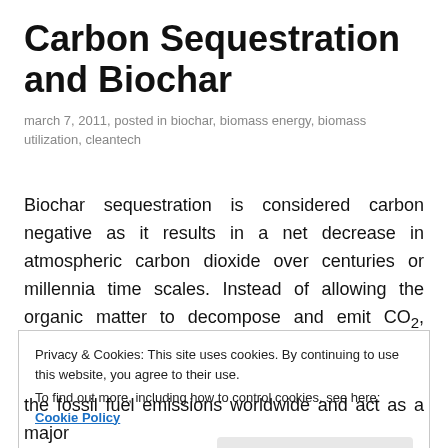Carbon Sequestration and Biochar
march 7, 2011, posted in biochar, biomass energy, biomass utilization, cleantech
Biochar sequestration is considered carbon negative as it results in a net decrease in atmospheric carbon dioxide over centuries or millennia time scales. Instead of allowing the organic matter to decompose and emit CO₂, pyrolysis can be used to sequester the carbon and
Privacy & Cookies: This site uses cookies. By continuing to use this website, you agree to their use.
To find out more, including how to control cookies, see here: Cookie Policy
the fossil fuel emissions worldwide and act as a major